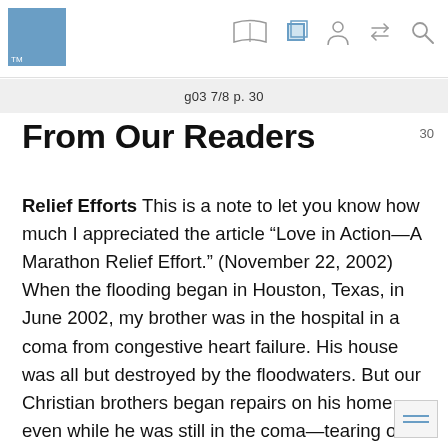g03 7/8 p. 30
From Our Readers
Relief Efforts This is a note to let you know how much I appreciated the article “Love in Action—A Marathon Relief Effort.” (November 22, 2002) When the flooding began in Houston, Texas, in June 2002, my brother was in the hospital in a coma from congestive heart failure. His house was all but destroyed by the floodwaters. But our Christian brothers began repairs on his home even while he was still in the coma—tearing out wet carpet and drywall and disinfecting his house. Their assistance allowed me to stay with my brother at the hospital. He eventually came out of the coma. The love and gratitude I feel for Jehovah and his wonderful